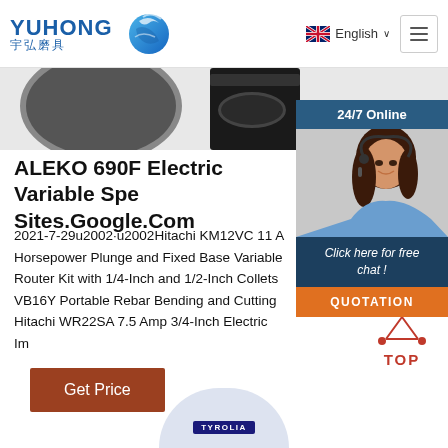[Figure (screenshot): Yuhong logo with Chinese characters 宇弘磨具 and blue wave/globe icon]
English ∨
[Figure (screenshot): UK flag icon next to English language selector]
[Figure (screenshot): Hamburger menu icon (three horizontal lines in bordered box)]
[Figure (photo): Partial circular abrasive disc product image at top left]
[Figure (photo): Dark power tool product image at top right]
[Figure (screenshot): 24/7 Online chat widget with female headset agent photo, Click here for free chat text, and orange QUOTATION button]
ALEKO 690F Electric Variable Spe Sites.Google.Com
2021-7-29u2002·u2002Hitachi KM12VC 11 A Horsepower Plunge and Fixed Base Variable Router Kit with 1/4-Inch and 1/2-Inch Collets VB16Y Portable Rebar Bending and Cutting Hitachi WR22SA 7.5 Amp 3/4-Inch Electric Im
Get Price
[Figure (screenshot): Red TOP button icon with dot-triangle design]
[Figure (photo): Partial circular TYROLIA branded abrasive/grinding disc at bottom center]